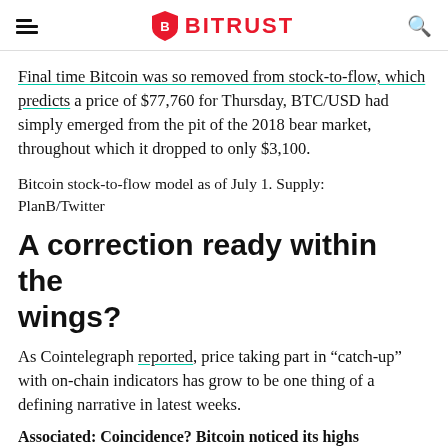BITRUST
Final time Bitcoin was so removed from stock-to-flow, which predicts a price of $77,760 for Thursday, BTC/USD had simply emerged from the pit of the 2018 bear market, throughout which it dropped to only $3,100.
Bitcoin stock-to-flow model as of July 1. Supply: PlanB/Twitter
A correction ready within the wings?
As Cointelegraph reported, price taking part in “catch-up” with on-chain indicators has grow to be one thing of a defining narrative in latest weeks.
Associated: Coincidence? Bitcoin noticed its highs